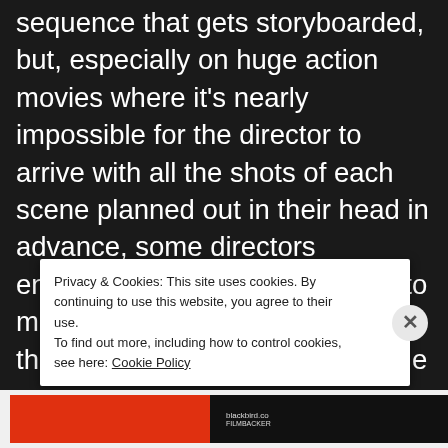sequence that gets storyboarded, but, especially on huge action movies where it's nearly impossible for the director to arrive with all the shots of each scene planned out in their head in advance, some directors encourage the storyboard artist to make suggestions or even ask them to have a crack at the whole scene as they see it. Then the director can react to those ideas and say 'yes that's i... o...
Privacy & Cookies: This site uses cookies. By continuing to use this website, you agree to their use. To find out more, including how to control cookies, see here: Cookie Policy
[Figure (screenshot): Bottom bar with red and black block elements and small text]